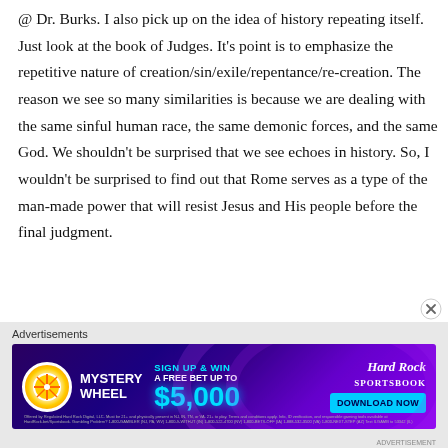@ Dr. Burks. I also pick up on the idea of history repeating itself. Just look at the book of Judges. It's point is to emphasize the repetitive nature of creation/sin/exile/repentance/re-creation. The reason we see so many similarities is because we are dealing with the same sinful human race, the same demonic forces, and the same God. We shouldn't be surprised that we see echoes in history. So, I wouldn't be surprised to find out that Rome serves as a type of the man-made power that will resist Jesus and His people before the final judgment.
Advertisements
[Figure (other): Hard Rock Sportsbook advertisement banner. Mystery Wheel promotion: Sign up and win a free bet up to $5,000. Download Now button.]